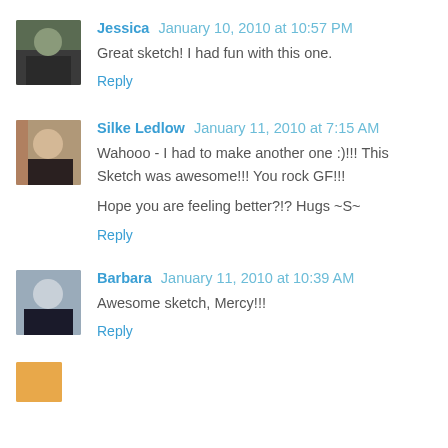Jessica January 10, 2010 at 10:57 PM
Great sketch! I had fun with this one.
Reply
Silke Ledlow January 11, 2010 at 7:15 AM
Wahooo - I had to make another one :)!!! This Sketch was awesome!!! You rock GF!!!
Hope you are feeling better?!? Hugs ~S~
Reply
Barbara January 11, 2010 at 10:39 AM
Awesome sketch, Mercy!!!
Reply